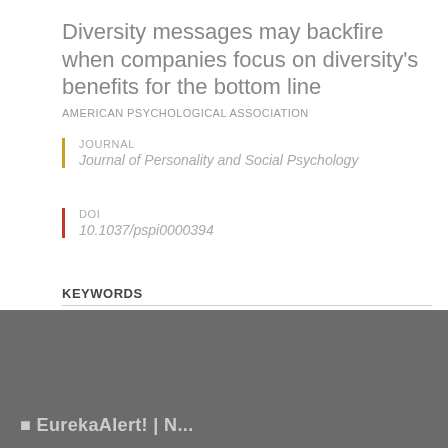Diversity messages may backfire when companies focus on diversity's benefits for the bottom line
AMERICAN PSYCHOLOGICAL ASSOCIATION
JOURNAL
Journal of Personality and Social Psychology
DOI
10.1037/pspi0000394
KEYWORDS
PSYCHOLOGICAL SCIENCE
SOCIAL PSYCHOLOGY
BUSINESS